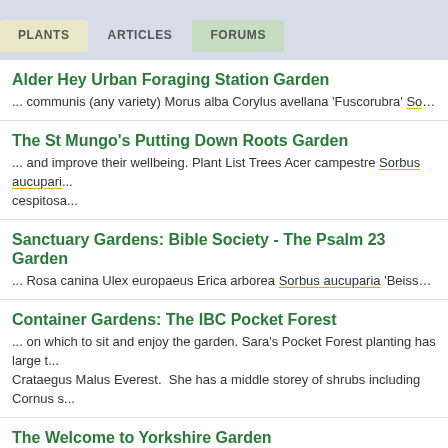PLANTS | ARTICLES | FORUMS
Alder Hey Urban Foraging Station Garden
... communis (any variety) Morus alba Corylus avellana 'Fuscorubra' Sorbus auc...
The St Mungo's Putting Down Roots Garden
... and improve their wellbeing. Plant List Trees Acer campestre Sorbus aucupari... cespitosa...
Sanctuary Gardens: Bible Society - The Psalm 23 Garden
... Rosa canina Ulex europaeus Erica arborea Sorbus aucuparia 'Beissneri' Rubu...
Container Gardens: The IBC Pocket Forest
... on which to sit and enjoy the garden. Sara's Pocket Forest planting has large t... Crataegus Malus Everest.  She has a middle storey of shrubs including Cornus s...
The Welcome to Yorkshire Garden
... Pinus sylvestris Alnus glutinosa Betula pendula Sorbus aucuparia Corylus ave...
Zoflora and Caudwell Children's Wild Garden
... 'Pendula'   Lower Story Trees Amelanchier lamarckii Sorbus aucuparia Corylus...